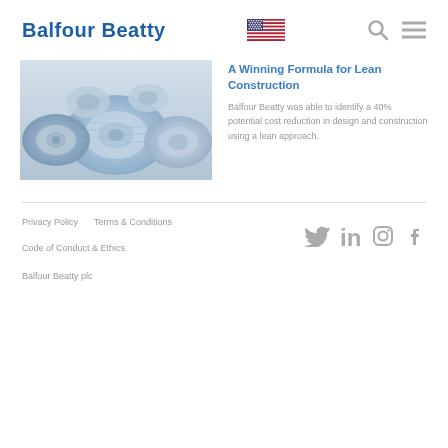Balfour Beatty
[Figure (photo): Rolled architectural blueprints/construction plans stacked together, blue-toned monochrome photo]
A Winning Formula for Lean Construction
Balfour Beatty was able to identify a 40% potential cost reduction in design and construction using a lean approach.
Privacy Policy   Terms & Conditions
Code of Conduct & Ethics
Balfour Beatty plc